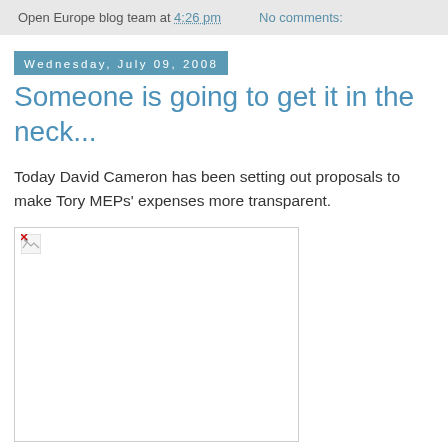Open Europe blog team at 4:26 pm   No comments:
Wednesday, July 09, 2008
Someone is going to get it in the neck...
Today David Cameron has been setting out proposals to make Tory MEPs' expenses more transparent.
[Figure (photo): Broken image placeholder (image failed to load)]
Unveiling a “right to know” form, he announced that from now on Conservative MEPs will have to set out in detail exactly how much they claim from their generous euro-